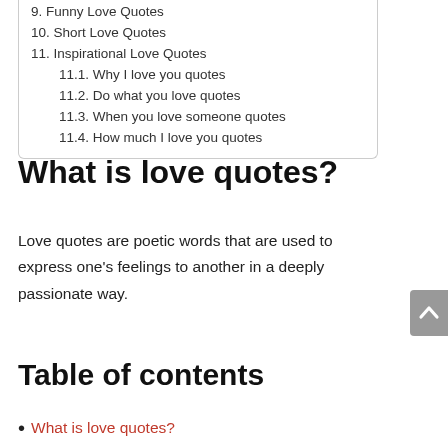9. Funny Love Quotes
10. Short Love Quotes
11. Inspirational Love Quotes
11.1. Why I love you quotes
11.2. Do what you love quotes
11.3. When you love someone quotes
11.4. How much I love you quotes
What is love quotes?
Love quotes are poetic words that are used to express one’s feelings to another in a deeply passionate way.
Table of contents
What is love quotes?